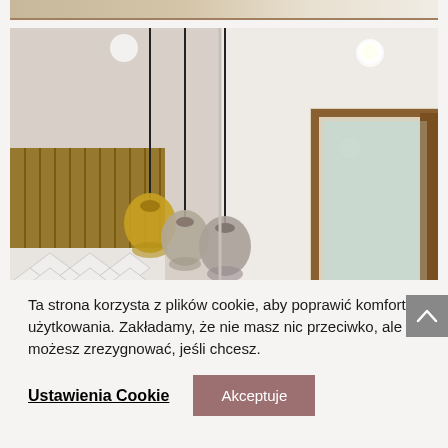[Figure (photo): Top strip showing partial view of wooden kitchen cabinetry interior]
[Figure (photo): Interior room photo showing pendant lights with globe shades hanging over a kitchen area with wooden slat wall panel and geometric white tile backsplash on the left, and a hallway with door frame on the right, white ceiling with recessed lighting]
Ta strona korzysta z plików cookie, aby poprawić komfort użytkowania. Zakładamy, że nie masz nic przeciwko, ale możesz zrezygnować, jeśli chcesz.
Ustawienia Cookie
Akceptuje